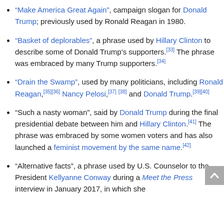“Make America Great Again”, campaign slogan for Donald Trump; previously used by Ronald Reagan in 1980.
“Basket of deplorables”, a phrase used by Hillary Clinton to describe some of Donald Trump’s supporters.[33] The phrase was embraced by many Trump supporters.[34]
“Drain the Swamp”, used by many politicians, including Ronald Reagan,[35][36] Nancy Pelosi,[37][38] and Donald Trump.[39][40]
“Such a nasty woman”, said by Donald Trump during the final presidential debate between him and Hillary Clinton.[41] The phrase was embraced by some women voters and has also launched a feminist movement by the same name.[42]
“Alternative facts”, a phrase used by U.S. Counselor to the President Kellyanne Conway during a Meet the Press interview in January 2017, in which she...